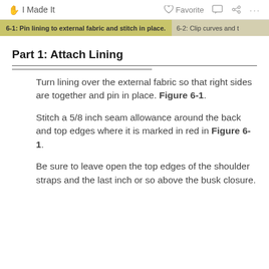I Made It   Favorite   ···
6-1: Pin lining to external fabric and stitch in place.   6-2: Clip curves and t…
Part 1: Attach Lining
Turn lining over the external fabric so that right sides are together and pin in place. Figure 6-1.
Stitch a 5/8 inch seam allowance around the back and top edges where it is marked in red in Figure 6-1.
Be sure to leave open the top edges of the shoulder straps and the last inch or so above the busk closure.